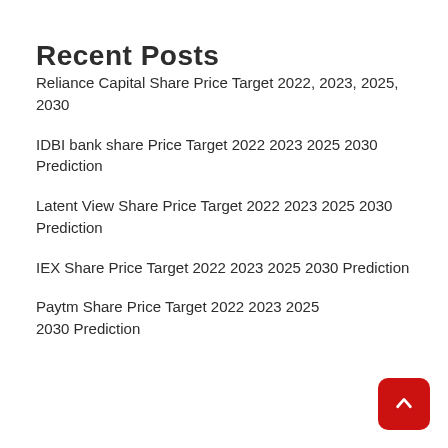Recent Posts
Reliance Capital Share Price Target 2022, 2023, 2025, 2030
IDBI bank share Price Target 2022 2023 2025 2030 Prediction
Latent View Share Price Target 2022 2023 2025 2030 Prediction
IEX Share Price Target 2022 2023 2025 2030 Prediction
Paytm Share Price Target 2022 2023 2025 2030 Prediction